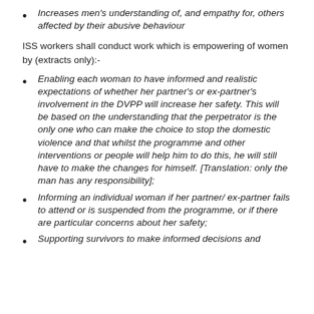Increases men's understanding of, and empathy for, others affected by their abusive behaviour
ISS workers shall conduct work which is empowering of women by (extracts only):-
Enabling each woman to have informed and realistic expectations of whether her partner's or ex-partner's involvement in the DVPP will increase her safety. This will be based on the understanding that the perpetrator is the only one who can make the choice to stop the domestic violence and that whilst the programme and other interventions or people will help him to do this, he will still have to make the changes for himself. [Translation: only the man has any responsibility];
Informing an individual woman if her partner/ ex-partner fails to attend or is suspended from the programme, or if there are particular concerns about her safety;
Supporting survivors to make informed decisions and